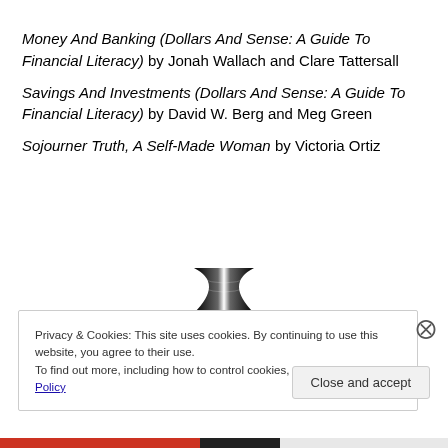Money And Banking (Dollars And Sense: A Guide To Financial Literacy) by Jonah Wallach and Clare Tattersall
Savings And Investments (Dollars And Sense: A Guide To Financial Literacy) by David W. Berg and Meg Green
Sojourner Truth, A Self-Made Woman by Victoria Ortiz
[Figure (logo): Black and white hourglass/bowtie shaped logo]
Privacy & Cookies: This site uses cookies. By continuing to use this website, you agree to their use. To find out more, including how to control cookies, see here: Cookie Policy
Close and accept